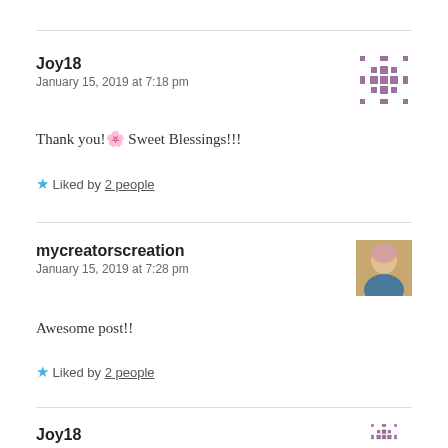Joy18
January 15, 2019 at 7:18 pm
Thank you!🌸 Sweet Blessings!!!
★ Liked by 2 people
[Figure (illustration): Purple quilt/snowflake pattern avatar for Joy18]
mycreatorscreation
January 15, 2019 at 7:28 pm
Awesome post!!
★ Liked by 2 people
[Figure (photo): Photo of a woman with short hair for mycreatorscreation]
Joy18
[Figure (illustration): Purple quilt/snowflake pattern avatar for Joy18 (partial)]